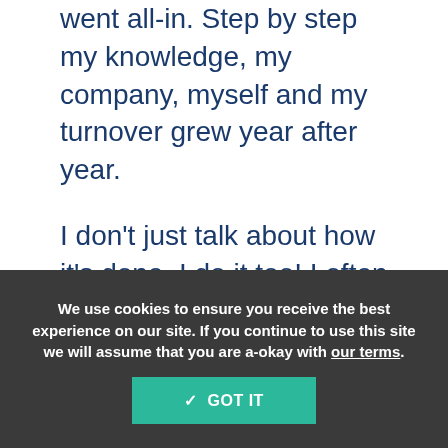went all-in. Step by step my knowledge, my company, myself and my turnover grew year after year.

I don't just talk about how it's done. I do it too! I often pinch myself in amazement that this is my life. I believe that it really is possible for everyone to take control of their success. And, that's what I want for you too, by sharing our own...
We use cookies to ensure you receive the best experience on our site. If you continue to use this site we will assume that you are a-okay with our terms.